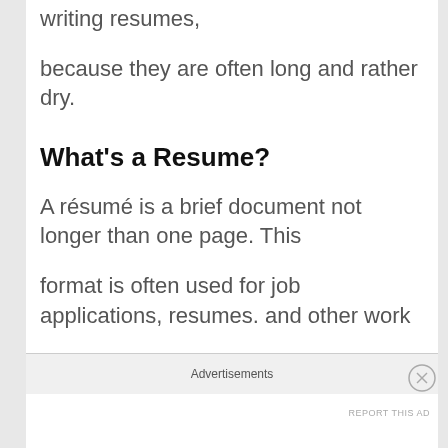writing resumes,
because they are often long and rather dry.
What's a Resume?
A résumé is a brief document not longer than one page. This
format is often used for job applications, resumes. and other work
Advertisements